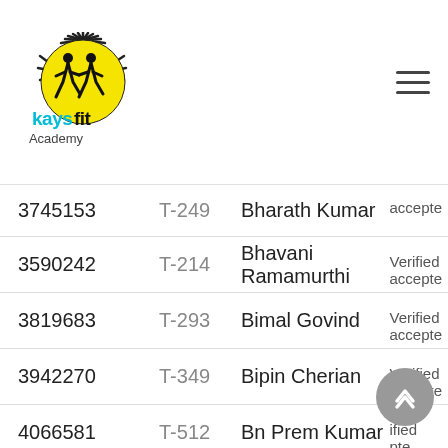kaysfit Academy logo and navigation
| ID | T-Code | Name | Status |
| --- | --- | --- | --- |
| 3745153 | T-249 | Bharath Kumar | accepted |
| 3590242 | T-214 | Bhavani Ramamurthi | Verified accepted |
| 3819683 | T-293 | Bimal Govind | Verified accepted |
| 3942270 | T-349 | Bipin Cherian | Verified accepted |
| 4066581 | T-512 | Bn Prem Kumar | Verified accepted |